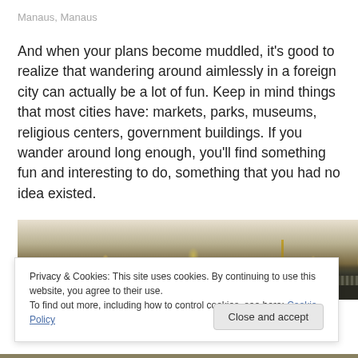Manaus, Manaus
And when your plans become muddled, it's good to realize that wandering around aimlessly in a foreign city can actually be a lot of fun. Keep in mind things that most cities have: markets, parks, museums, religious centers, government buildings. If you wander around long enough, you'll find something fun and interesting to do, something that you had no idea existed.
[Figure (photo): Night cityscape photo of Manaus showing city lights, buildings, a tall spire, and a waterfront railing/fence in the foreground]
Privacy & Cookies: This site uses cookies. By continuing to use this website, you agree to their use.
To find out more, including how to control cookies, see here: Cookie Policy
Close and accept